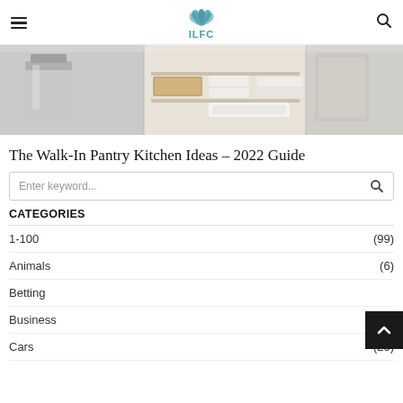ILFC
[Figure (photo): Kitchen pantry organization photo showing a stainless steel trash can on the left, wicker baskets and white storage containers in the center, and glass containers on the right]
The Walk-In Pantry Kitchen Ideas – 2022 Guide
Enter keyword...
CATEGORIES
1-100 (99)
Animals (6)
Betting (1)
Business (56)
Cars (20)